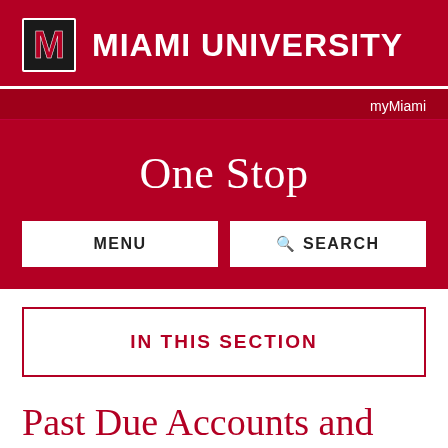[Figure (logo): Miami University M logo with university name]
myMiami
One Stop
MENU
SEARCH
IN THIS SECTION
Past Due Accounts and